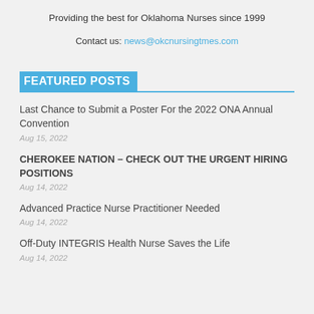Providing the best for Oklahoma Nurses since 1999
Contact us: news@okcnursingtmes.com
FEATURED POSTS
Last Chance to Submit a Poster For the 2022 ONA Annual Convention
Aug 15, 2022
CHEROKEE NATION – CHECK OUT THE URGENT HIRING POSITIONS
Aug 14, 2022
Advanced Practice Nurse Practitioner Needed
Aug 14, 2022
Off-Duty INTEGRIS Health Nurse Saves the Life
Aug 14, 2022